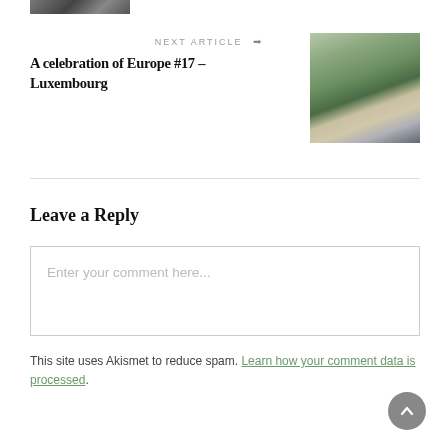[Figure (photo): Partial thumbnail image of a city scene, cut off at top of page]
NEXT ARTICLE →
A celebration of Europe #17 – Luxembourg
[Figure (photo): Aerial photograph of Luxembourg city showing old town buildings, greenery and rooftops under a cloudy sky]
Leave a Reply
Enter your comment here...
This site uses Akismet to reduce spam. Learn how your comment data is processed.